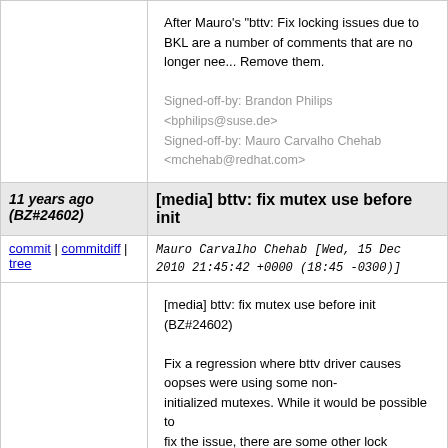After Mauro's "bttv: Fix locking issues due to BKL are a number of comments that are no longer nee... Remove them.
Signed-off-by: Brandon Philips <bphilips@suse.de>
Signed-off-by: Mauro Carvalho Chehab <mchehab@redhat.com>
11 years ago (BZ#24602)
[media] bttv: fix mutex use before init
commit | commitdiff | tree   Mauro Carvalho Chehab [Wed, 15 Dec 2010 21:45:42 +0000 (18:45 -0300)]
[media] bttv: fix mutex use before init (BZ#24602)
Fix a regression where bttv driver causes oopses were using some non-initialized mutexes. While it would be possible to fix the issue, there are some other lock troubles, li lock code at free_btres_lock().
It is possible to fix, but the better is to just use the assisted locking schema. This way, V4L2 core will serialize ioctl's/open/close/mmap/read/poll operations, avoi processes accessing the hardware at the same ti one lock, instead of 3, there's no risk of dead locks